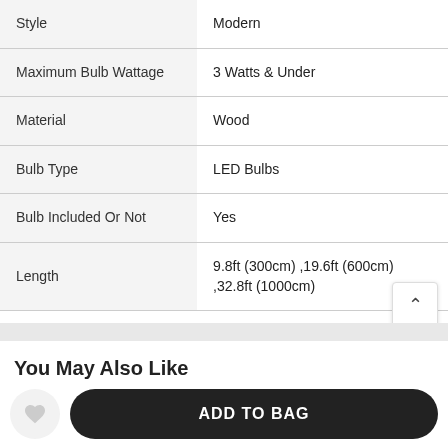| Attribute | Value |
| --- | --- |
| Style | Modern |
| Maximum Bulb Wattage | 3 Watts & Under |
| Material | Wood |
| Bulb Type | LED Bulbs |
| Bulb Included Or Not | Yes |
| Length | 9.8ft (300cm) ,19.6ft (600cm) ,32.8ft (1000cm) |
You May Also Like
ADD TO BAG